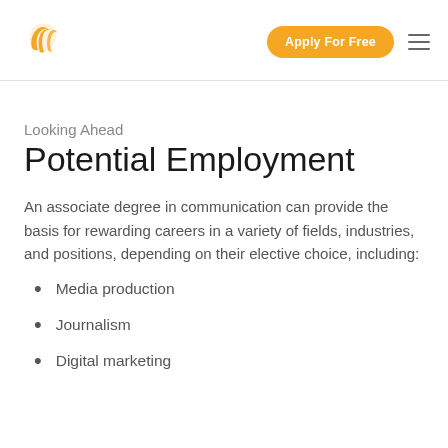Apply For Free
Looking Ahead
Potential Employment
An associate degree in communication can provide the basis for rewarding careers in a variety of fields, industries, and positions, depending on their elective choice, including:
Media production
Journalism
Digital marketing